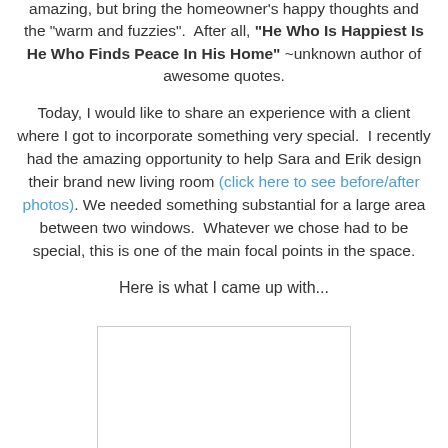amazing, but bring the homeowner's happy thoughts and the "warm and fuzzies". After all, "He Who Is Happiest Is He Who Finds Peace In His Home" ~unknown author of awesome quotes.
Today, I would like to share an experience with a client where I got to incorporate something very special. I recently had the amazing opportunity to help Sara and Erik design their brand new living room (click here to see before/after photos). We needed something substantial for a large area between two windows. Whatever we chose had to be special, this is one of the main focal points in the space.
Here is what I came up with...
[Figure (photo): A photo placeholder with a light gray border showing an interior design image (blank/white in this view).]